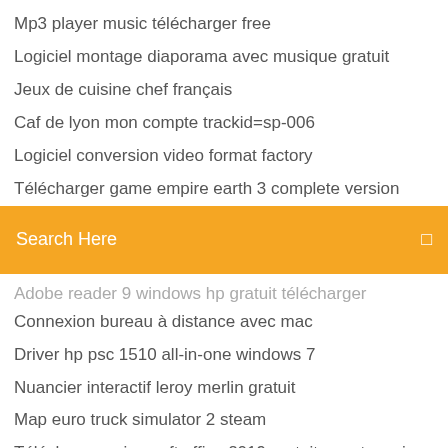Mp3 player music télécharger free
Logiciel montage diaporama avec musique gratuit
Jeux de cuisine chef français
Caf de lyon mon compte trackid=sp-006
Logiciel conversion video format factory
Télécharger game empire earth 3 complete version
Search Here
Adobe reader 9 windows hp gratuit télécharger
Connexion bureau à distance avec mac
Driver hp psc 1510 all-in-one windows 7
Nuancier interactif leroy merlin gratuit
Map euro truck simulator 2 steam
Télécharger microsoft office 2019 gratuitement version complete en francais
Jeux de camion simulator gratuit
Logiciel de lecture bluray
Baisser le son sur le clavier
Dragon mania legends pc telecharger